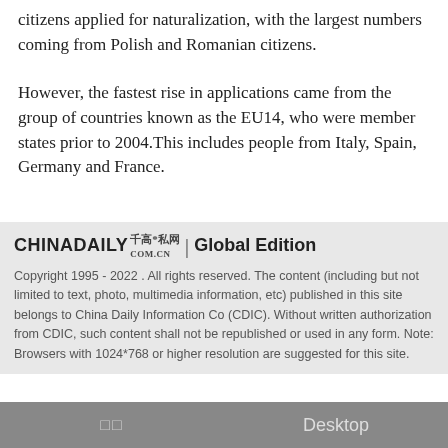citizens applied for naturalization, with the largest numbers coming from Polish and Romanian citizens.
However, the fastest rise in applications came from the group of countries known as the EU14, who were member states prior to 2004.This includes people from Italy, Spain, Germany and France.
[Figure (logo): China Daily logo with Chinese characters and Global Edition label]
Copyright 1995 - 2022 . All rights reserved. The content (including but not limited to text, photo, multimedia information, etc) published in this site belongs to China Daily Information Co (CDIC). Without written authorization from CDIC, such content shall not be republished or used in any form. Note: Browsers with 1024*768 or higher resolution are suggested for this site.
□□   Desktop